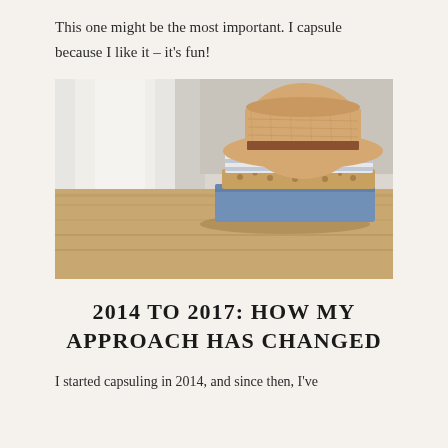This one might be the most important. I capsule because I like it – it's fun!
[Figure (photo): A straw hat resting on top of a neatly folded stack of clothes (striped shirt, patterned fabric, denim jeans) placed on a wooden surface, with a light curtain in the background.]
2014 TO 2017: HOW MY APPROACH HAS CHANGED
I started capsuling in 2014, and since then, I've